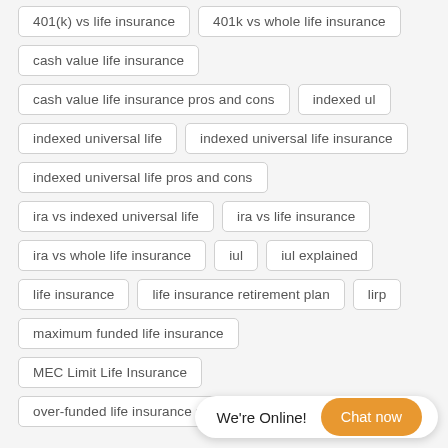401(k) vs life insurance
401k vs whole life insurance
cash value life insurance
cash value life insurance pros and cons
indexed ul
indexed universal life
indexed universal life insurance
indexed universal life pros and cons
ira vs indexed universal life
ira vs life insurance
ira vs whole life insurance
iul
iul explained
life insurance
life insurance retirement plan
lirp
maximum funded life insurance
MEC Limit Life Insurance
over-funded life insurance policy
permanent life insura…
We're Online!
Chat now